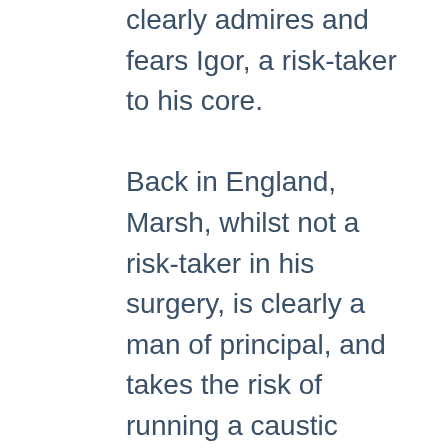clearly admires and fears Igor, a risk-taker to his core.

Back in England, Marsh, whilst not a risk-taker in his surgery, is clearly a man of principal, and takes the risk of running a caustic commentary on the current bureaucracy-muddled woes of the English National Health Service throughout his account. The never-ending shortage of beds with patients being shunted at 3am, not between wards but between hospitals, sometimes 150 miles apart. Ludicrously expensive and inoperable IT systems. Political correctness run amock – it reminded me very much of Brave New World. Not quite the Ukraine maybe, but he documents idiocies